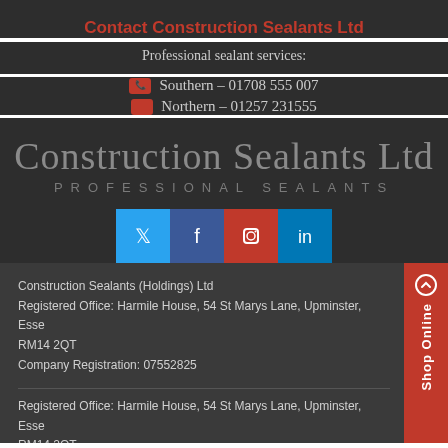Contact Construction Sealants Ltd
Professional sealant services:
Southern – 01708 555 007
Northern – 01257 231555
[Figure (logo): Construction Sealants Ltd / PROFESSIONAL SEALANTS logo text with social media icons (Twitter, Facebook, Instagram, LinkedIn)]
Construction Sealants (Holdings) Ltd
Registered Office: Harmile House, 54 St Marys Lane, Upminster, Essex RM14 2QT
Company Registration: 07552825
Registered Office: Harmile House, 54 St Marys Lane, Upminster, Essex RM14 2QT
Company Registration: 02515979
Copyright Construction Sealants Limited 2018